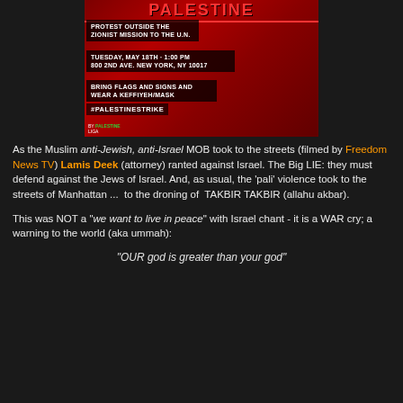[Figure (infographic): Protest flyer with red crowd background. Title: PALESTINE. Text boxes: 'PROTEST OUTSIDE THE ZIONIST MISSION TO THE U.N.', 'TUESDAY, MAY 18TH · 1:00 PM 800 2ND AVE. NEW YORK, NY 10017', 'BRING FLAGS AND SIGNS AND WEAR A KEFFIYEH/MASK', '#PALESTINESTRIKE'. Credit: NY PALESTINE logo.]
As the Muslim anti-Jewish, anti-Israel MOB took to the streets (filmed by Freedom News TV) Lamis Deek (attorney) ranted against Israel. The Big LIE: they must defend against the Jews of Israel. And, as usual, the 'pali' violence took to the streets of Manhattan ...  to the droning of  TAKBIR TAKBIR (allahu akbar).
This was NOT a "we want to live in peace" with Israel chant - it is a WAR cry; a warning to the world (aka ummah):
"OUR god is greater than your god"